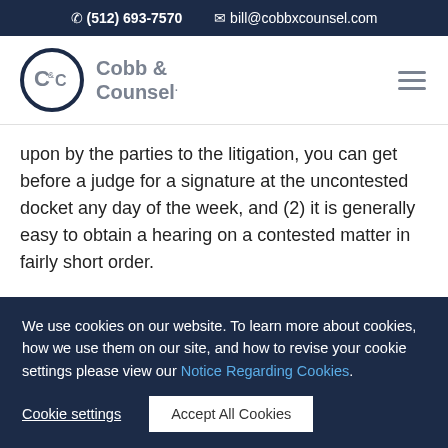(512) 693-7570   bill@cobbxcounsel.com
[Figure (logo): Cobb & Counsel logo with circular C&C emblem and text]
upon by the parties to the litigation, you can get before a judge for a signature at the uncontested docket any day of the week, and (2) it is generally easy to obtain a hearing on a contested matter in fairly short order.
Uncontested Docket. On Monday through Friday of
We use cookies on our website. To learn more about cookies, how we use them on our site, and how to revise your cookie settings please view our Notice Regarding Cookies.
Cookie settings   Accept All Cookies